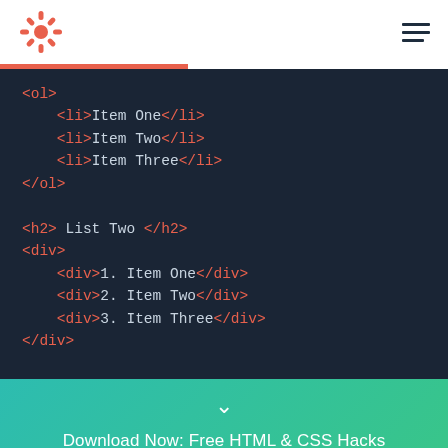HubSpot navigation bar with logo and hamburger menu
[Figure (screenshot): Code editor screenshot showing HTML markup: <ol> with <li> items, <h2> heading, <div> with numbered items]
Download Now: Free HTML & CSS Hacks
Get it now